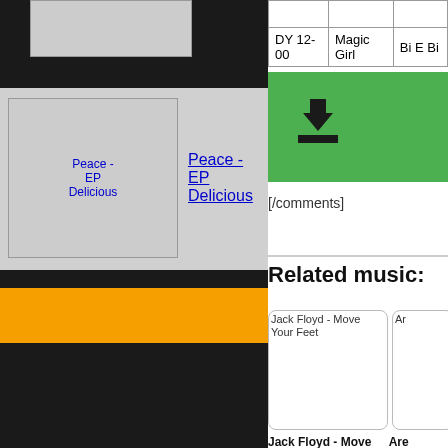[Figure (photo): Album thumbnail image placeholder at top left]
[Figure (photo): Peace - EP Delicious album art thumbnail]
Peace - EP Delicious
|  |  |  |
| --- | --- | --- |
|  |  |  |
| DY 12-00 | Magic Girl | Bi E Bi |
[Figure (infographic): Green download button bar with download icon]
[/comments]
Related music:
[Figure (photo): Jack Floyd - Move Your Feet album card]
[Figure (photo): Are... album card (partially visible)]
Jack Floyd - Move Your Feet
Are